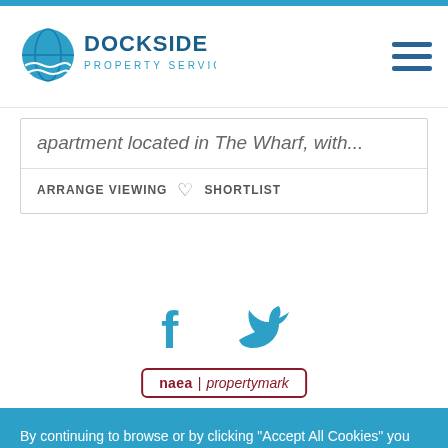[Figure (logo): Dockside Property Services logo with globe icon and text]
apartment located in The Wharf, with...
ARRANGE VIEWING  ♡  SHORTLIST
[Figure (illustration): Facebook and Twitter social media icons in blue]
[Figure (logo): NAEA Propertymark badge with dark red border]
By continuing to browse or by clicking “Accept All Cookies” you agree to the storing of first and third-party cookies on your device to enhance site navigation, analyse site usage, and assist in our marketing efforts.  Review our Cookie Policy here.
Deny Cookies
Accept All Cookies